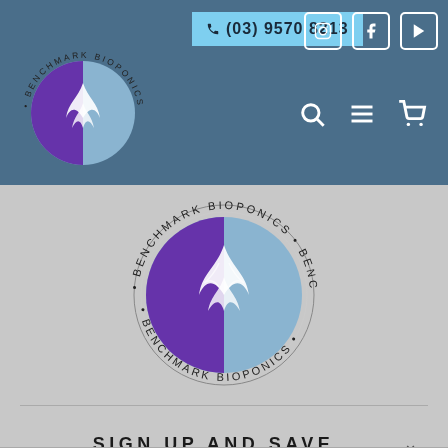(03) 9570 8213
[Figure (logo): Benchmark Bioponics circular logo in header]
[Figure (logo): Benchmark Bioponics circular logo in main content area]
SIGN UP AND SAVE
[Figure (infographic): Google review badge showing 5.0 stars and 14 Reviews]